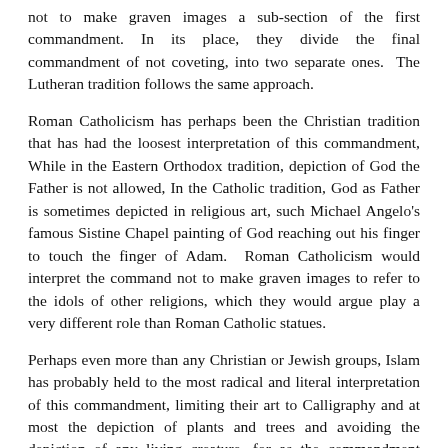not to make graven images a sub-section of the first commandment. In its place, they divide the final commandment of not coveting, into two separate ones.  The Lutheran tradition follows the same approach.
Roman Catholicism has perhaps been the Christian tradition that has had the loosest interpretation of this commandment, While in the Eastern Orthodox tradition, depiction of God the Father is not allowed, In the Catholic tradition, God as Father is sometimes depicted in religious art, such Michael Angelo's famous Sistine Chapel painting of God reaching out his finger to touch the finger of Adam.  Roman Catholicism would interpret the command not to make graven images to refer to the idols of other religions, which they would argue play a very different role than Roman Catholic statues.
Perhaps even more than any Christian or Jewish groups, Islam has probably held to the most radical and literal interpretation of this commandment, limiting their art to Calligraphy and at most the depiction of plants and trees and avoiding the depiction of any living creature, for as the commandment reads: “You shall not make for yourself an image in the form of anything in heaven above or on the